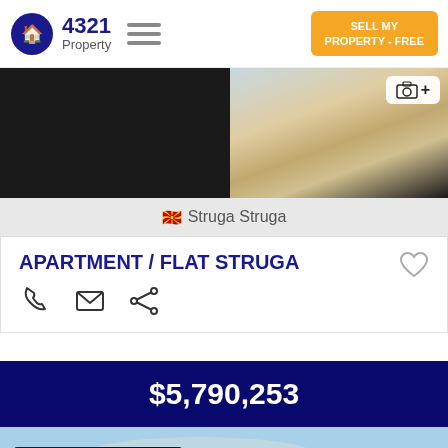4321 Property
[Figure (photo): Property interior photo showing dark curtains on the left and a bright window with floor on the right]
🇲🇰 Struga Struga
APARTMENT / FLAT STRUGA
Phone, Email, Share icons
$5,790,253
[Figure (map): Map of Europe]
Plot of land For Sale